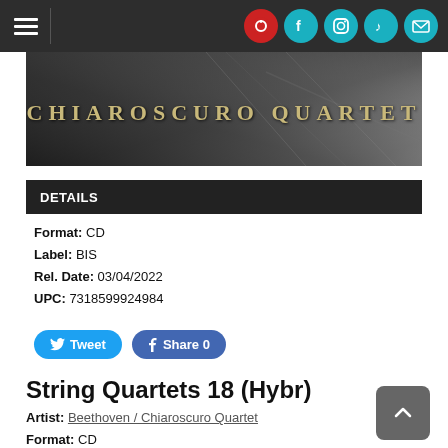Navigation bar with hamburger menu and social icons
[Figure (photo): Black and white banner image with text 'CHIAROSCURO QUARTET' in golden serif letters over a rocky/textured dark background]
DETAILS
Format: CD
Label: BIS
Rel. Date: 03/04/2022
UPC: 7318599924984
Tweet  Share 0
String Quartets 18 (Hybr)
Artist: Beethoven / Chiaroscuro Quartet
Format: CD